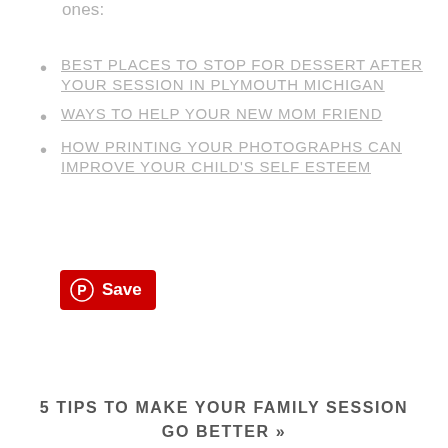ones:
BEST PLACES TO STOP FOR DESSERT AFTER YOUR SESSION IN PLYMOUTH MICHIGAN
WAYS TO HELP YOUR NEW MOM FRIEND
HOW PRINTING YOUR PHOTOGRAPHS CAN IMPROVE YOUR CHILD'S SELF ESTEEM
[Figure (logo): Pinterest Save button with Pinterest logo icon on red background]
5 TIPS TO MAKE YOUR FAMILY SESSION GO BETTER »